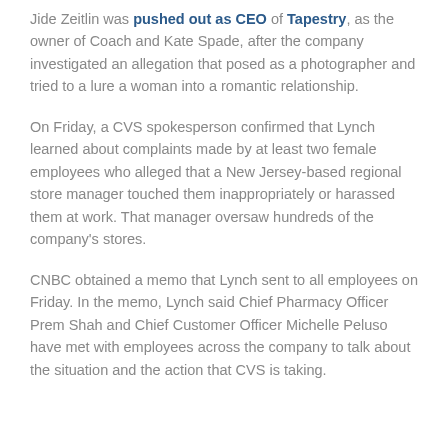Jide Zeitlin was pushed out as CEO of Tapestry, as the owner of Coach and Kate Spade, after the company investigated an allegation that posed as a photographer and tried to a lure a woman into a romantic relationship.
On Friday, a CVS spokesperson confirmed that Lynch learned about complaints made by at least two female employees who alleged that a New Jersey-based regional store manager touched them inappropriately or harassed them at work. That manager oversaw hundreds of the company's stores.
CNBC obtained a memo that Lynch sent to all employees on Friday. In the memo, Lynch said Chief Pharmacy Officer Prem Shah and Chief Customer Officer Michelle Peluso have met with employees across the company to talk about the situation and the action that CVS is taking.